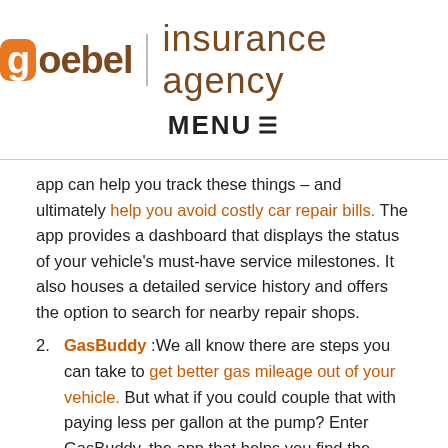[Figure (logo): Goebel Insurance Agency logo with orange 'g' badge and brown text]
MENU ≡
app can help you track these things – and ultimately help you avoid costly car repair bills. The app provides a dashboard that displays the status of your vehicle's must-have service milestones. It also houses a detailed service history and offers the option to search for nearby repair shops.
GasBuddy :We all know there are steps you can take to get better gas mileage out of your vehicle. But what if you could couple that with paying less per gallon at the pump? Enter GasBuddy, the app that helps you find the lowest fuel prices in your